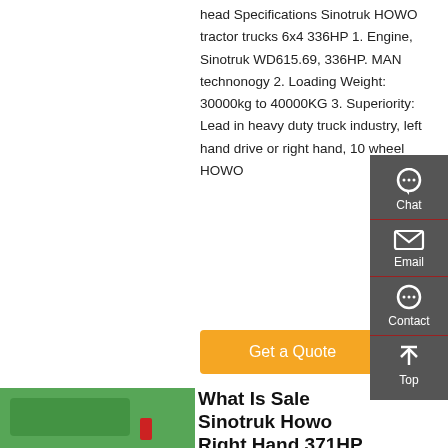head Specifications Sinotruk HOWO tractor trucks 6x4 336HP 1. Engine, Sinotruk WD615.69, 336HP. MAN technonogy 2. Loading Weight: 30000kg to 40000KG 3. Superiority: Lead in heavy duty truck industry, left hand drive or right hand, 10 wheel HOWO
[Figure (screenshot): Orange 'Get a Quote' button]
[Figure (infographic): Right-side floating sidebar with Chat, Email, Contact, Top icons on dark gray background]
[Figure (photo): Green Sinotruk HOWO heavy-duty truck parked in front of a building]
What Is Sale Sinotruk Howo Right Hand 371HP Tractor